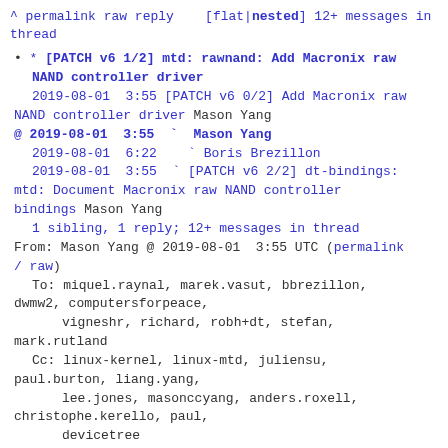^ permalink raw reply  [flat|nested] 12+ messages in thread
* [PATCH v6 1/2] mtd: rawnand: Add Macronix raw NAND controller driver
2019-08-01  3:55 [PATCH v6 0/2] Add Macronix raw NAND controller driver Mason Yang
@ 2019-08-01  3:55  ` Mason Yang
  2019-08-01  6:22    ` Boris Brezillon
  2019-08-01  3:55  ` [PATCH v6 2/2] dt-bindings: mtd: Document Macronix raw NAND controller bindings Mason Yang
  1 sibling, 1 reply; 12+ messages in thread
From: Mason Yang @ 2019-08-01  3:55 UTC (permalink / raw)
  To: miquel.raynal, marek.vasut, bbrezillon, dwmw2, computersforpeace,
          vigneshr, richard, robh+dt, stefan, mark.rutland
  Cc: linux-kernel, linux-mtd, juliensu, paul.burton, liang.yang,
          lee.jones, masonccyang, anders.roxell, christophe.kerello, paul,
          devicetree
Add a driver for Macronix raw NAND controller.
Signed-off-by: Mason Yang
<masonccyang@mxic.com.tw>
---